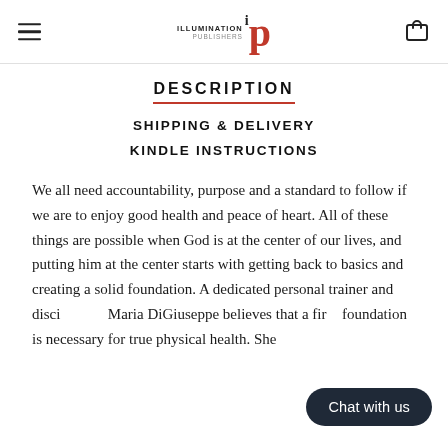Illumination Publishers IP
DESCRIPTION
SHIPPING & DELIVERY
KINDLE INSTRUCTIONS
We all need accountability, purpose and a standard to follow if we are to enjoy good health and peace of heart. All of these things are possible when God is at the center of our lives, and putting him at the center starts with getting back to basics and creating a solid foundation. A dedicated personal trainer and discipl...ist, Maria DiGiuseppe believes that a firm... foundation is necessary for true physical health. She